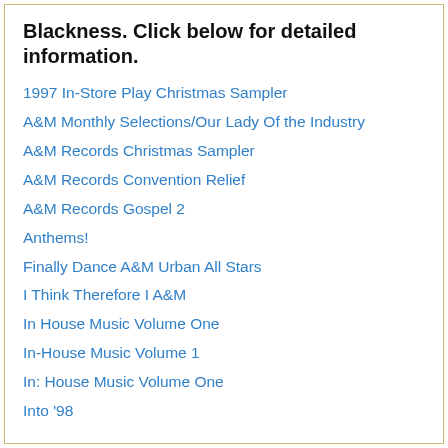Blackness. Click below for detailed information.
1997 In-Store Play Christmas Sampler
A&M Monthly Selections/Our Lady Of the Industry
A&M Records Christmas Sampler
A&M Records Convention Relief
A&M Records Gospel 2
Anthems!
Finally Dance A&M Urban All Stars
I Think Therefore I A&M
In House Music Volume One
In-House Music Volume 1
In: House Music Volume One
Into '98